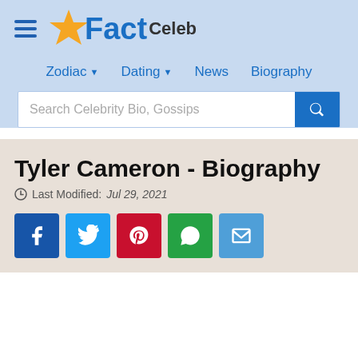FactCeleb
Zodiac · Dating · News · Biography
Search Celebrity Bio, Gossips
Tyler Cameron - Biography
Last Modified: Jul 29, 2021
[Figure (other): Social share buttons: Facebook, Twitter, Pinterest, WhatsApp, Email]